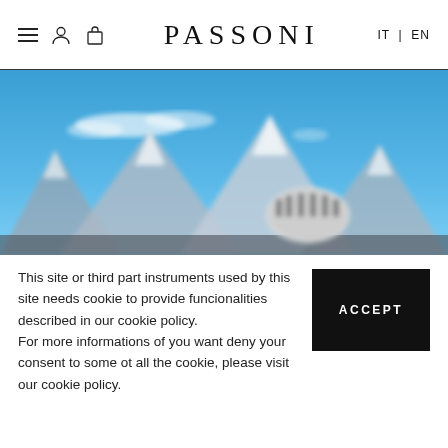PASSONI  IT | EN
[Figure (photo): Outdoor mountain scene with blue sky and clouds; a cyclist's helmet visible in the foreground with snow-capped alpine peaks in the background.]
This site or third part instruments used by this site needs cookie to provide funcionalities described in our cookie policy.
For more informations of you want deny your consent to some ot all the cookie, please visit our cookie policy.
ACCEPT